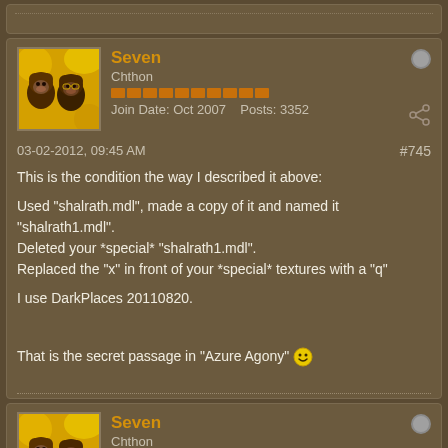[top dotted border / partial card]
Seven
Chthon
Join Date: Oct 2007   Posts: 3352
03-02-2012, 09:45 AM    #745
This is the condition the way I described it above:

Used "shalrath.mdl", made a copy of it and named it "shalrath1.mdl".
Deleted your *special* "shalrath1.mdl".
Replaced the "x" in front of your *special* textures with a "q"

I use DarkPlaces 20110820.

That is the secret passage in "Azure Agony" 😀
Seven
Chthon
[rep bar]